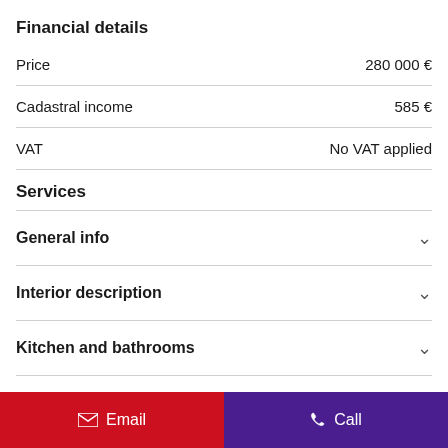Financial details
|  |  |
| --- | --- |
| Price | 280 000 € |
| Cadastral income | 585 € |
| VAT | No VAT applied |
Services
General info
Interior description
Kitchen and bathrooms
Heating and energy
Email   Call